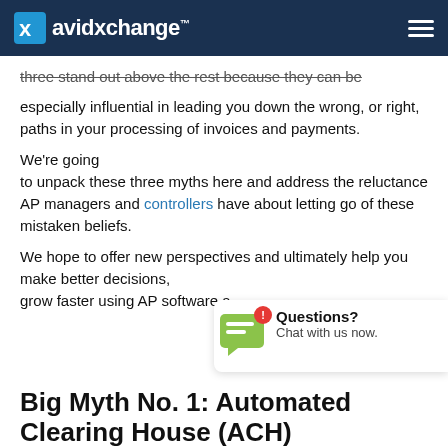avidxchange™
three stand out above the rest because they can be especially influential in leading you down the wrong, or right, paths in your processing of invoices and payments.
We're going to unpack these three myths here and address the reluctance AP managers and controllers have about letting go of these mistaken beliefs.
We hope to offer new perspectives and ultimately help you make better decisions, grow faster using AP software…
[Figure (other): Chat widget overlay showing a green chat bubble icon with a red notification badge, and text 'Questions? Chat with us now.']
Big Myth No. 1: Automated Clearing House (ACH)